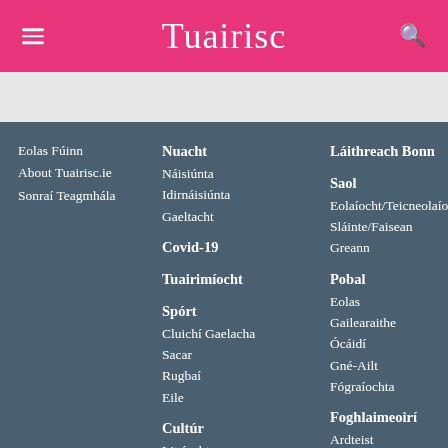Tuairisc
Eolas Fúinn
About Tuairisc.ie
Sonraí Teagmhála
Nuacht
Náisiúnta
Idirnáisiúnta
Gaeltacht
Covid-19
Tuairimíocht
Spórt
Cluichí Gaelacha
Sacar
Rugbaí
Eile
Cultúr
Litríocht
Láithreach Bonn
Saol
Eolaíocht/Teicneolaíocht
Sláinte/Faisean
Greann
Pobal
Eolas
Gailearaithe
Ócáidí
Gné-Ailt
Fógraíochta
Foghlaimeoirí
Ardteist